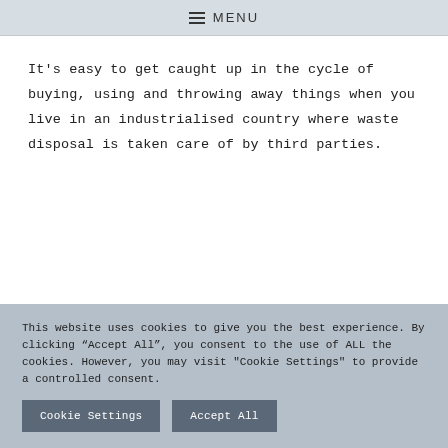MENU
It’s easy to get caught up in the cycle of buying, using and throwing away things when you live in an industrialised country where waste disposal is taken care of by third parties.
This website uses cookies to give you the best experience. By clicking “Accept All”, you consent to the use of ALL the cookies. However, you may visit “Cookie Settings” to provide a controlled consent.